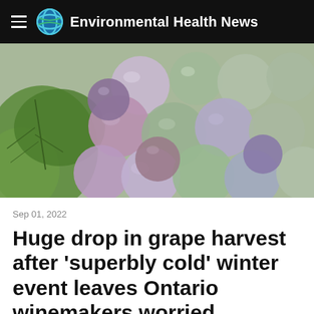Environmental Health News
[Figure (photo): Close-up photograph of clusters of wine grapes in shades of purple, green, and pink, with a large green grape leaf visible on the left side.]
Sep 01, 2022
Huge drop in grape harvest after 'superbly cold' winter event leaves Ontario winemakers worried